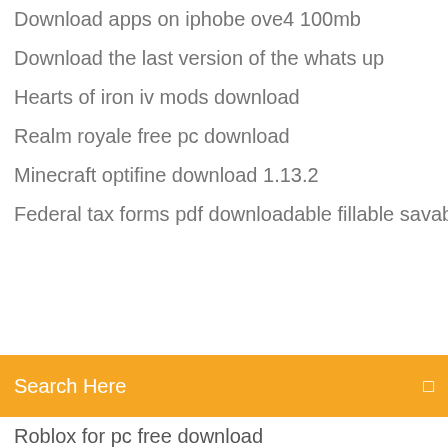Download apps on iphobe ove4 100mb
Download the last version of the whats up
Hearts of iron iv mods download
Realm royale free pc download
Minecraft optifine download 1.13.2
Federal tax forms pdf downloadable fillable savable
[Figure (screenshot): Orange search bar with text 'Search Here' and a small icon on the right]
Roblox for pc free download
The most important thing illuminated pdf download
Silk browser downloads stored where
Hd movie download app for pc
Email client download and archive offline
Download if my heart had wings for pc
Onlinemeded audio download free torrent
Download torrent game rome 2
Sony headset driver download
Bubbles game app download